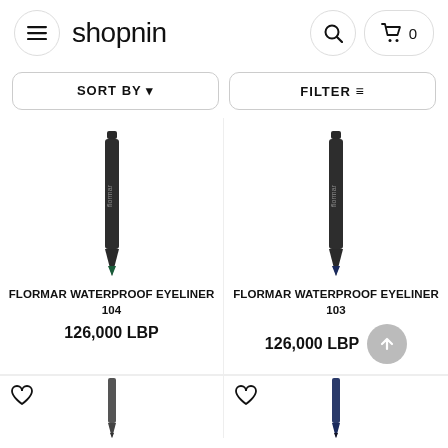shopnin
SORT BY ▾
FILTER
[Figure (photo): Flormar waterproof eyeliner pencil 104 (dark green), vertical orientation]
FLORMAR WATERPROOF EYELINER 104
126,000 LBP
[Figure (photo): Flormar waterproof eyeliner pencil 103 (dark navy), vertical orientation]
FLORMAR WATERPROOF EYELINER 103
126,000 LBP
[Figure (photo): Bottom portion of eyeliner pencil (dark/black), partially visible]
[Figure (photo): Bottom portion of eyeliner pencil (navy blue), partially visible]